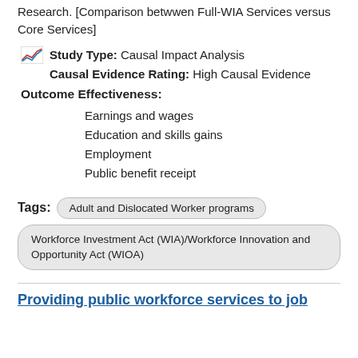Research. [Comparison betwwen Full-WIA Services versus Core Services]
Study Type: Causal Impact Analysis
Causal Evidence Rating: High Causal Evidence
Outcome Effectiveness:
Earnings and wages
Education and skills gains
Employment
Public benefit receipt
Tags: Adult and Dislocated Worker programs
Workforce Investment Act (WIA)/Workforce Innovation and Opportunity Act (WIOA)
Providing public workforce services to job seekers 15 months later: findings on the WIA